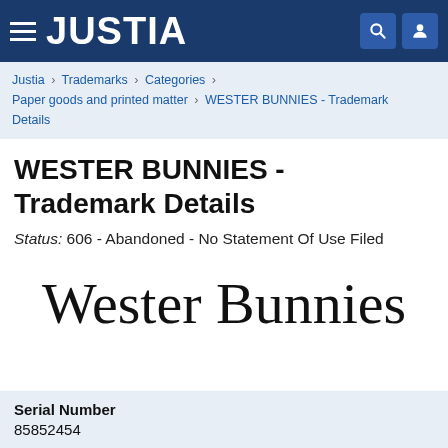JUSTIA
Justia › Trademarks › Categories › Paper goods and printed matter › WESTER BUNNIES - Trademark Details
WESTER BUNNIES - Trademark Details
Status: 606 - Abandoned - No Statement Of Use Filed
[Figure (illustration): Large serif text trademark display: Wester Bunnies]
Serial Number
85852454